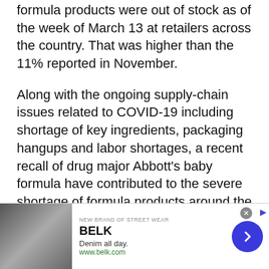formula products were out of stock as of the week of March 13 at retailers across the country. That was higher than the 11% reported in November.
Along with the ongoing supply-chain issues related to COVID-19 including shortage of key ingredients, packaging hangups and labor shortages, a recent recall of drug major Abbott's baby formula have contributed to the severe shortage of formula products around the country.
Abbott in February had recalled various lots of its
[Figure (other): Advertisement banner for Belk clothing retailer showing denim clothing images, brand name BELK, tagline 'Denim all day.' and website www.belk.com with a blue circular arrow navigation button]